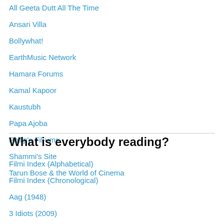All Geeta Dutt All The Time
Ansari Villa
Bollywhat!
EarthMusic Network
Hamara Forums
Kamal Kapoor
Kaustubh
Papa Ajoba
Philip's Fil-ums
Shammi's Site
Tarun Bose & the World of Cinema
What is everybody reading?
Filmi Index (Alphabetical)
Filmi Index (Chronological)
Aag (1948)
3 Idiots (2009)
Baadshah (1999)